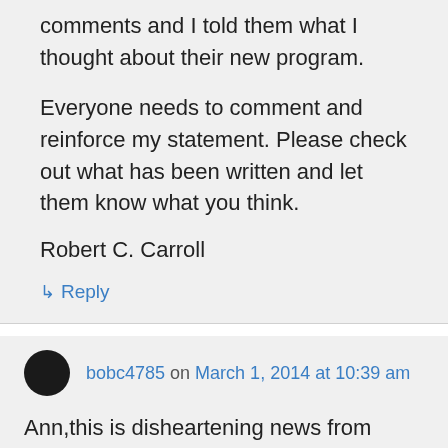comments and I told them what I thought about their new program.
Everyone needs to comment and reinforce my statement. Please check out what has been written and let them know what you think.
Robert C. Carroll
↳ Reply
bobc4785 on March 1, 2014 at 10:39 am
Ann,this is disheartening news from ACX, I have been a firm supporter of Amazon and I am surprised that they would